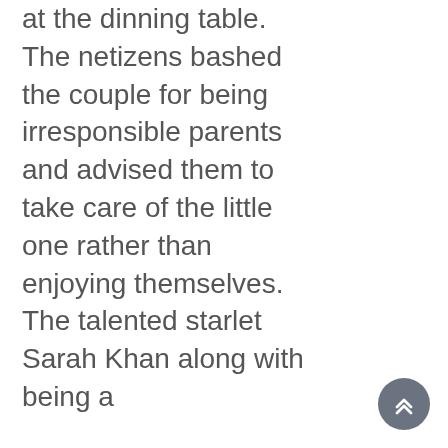at the dinning table. The netizens bashed the couple for being irresponsible parents and advised them to take care of the little one rather than enjoying themselves. The talented starlet Sarah Khan along with being a